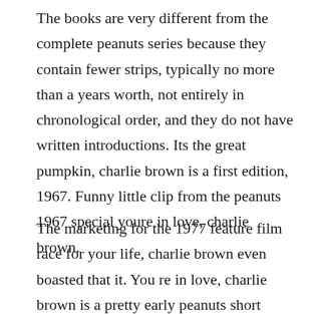The books are very different from the complete peanuts series because they contain fewer strips, typically no more than a years worth, not entirely in chronological order, and they do not have written introductions. Its the great pumpkin, charlie brown is a first edition, 1967. Funny little clip from the peanuts 1967 special youre in love, charlie brown.
The marketing for the 1977 feature film race for your life, charlie brown even boasted that it. You re in love, charlie brown is a pretty early peanuts short movie, from the 1960s